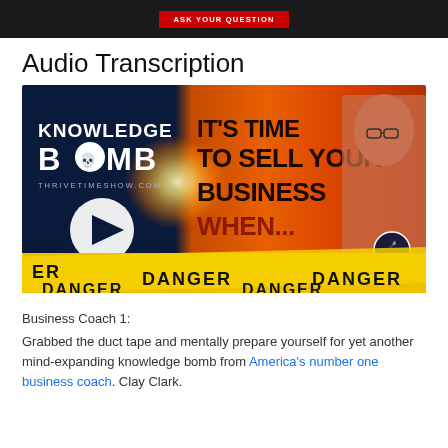[Figure (photo): Dark top banner with a red button labeled 'ASK YOUR QUESTION']
Audio Transcription
[Figure (photo): Knowledge Bomb podcast thumbnail from ThrivetimeShow.com showing 'IT'S TIME TO SELL YOUR BUSINESS WHEN...' with a man thinking, play button, and yellow DANGER tape at the bottom]
Business Coach 1:
Grabbed the duct tape and mentally prepare yourself for yet another mind-expanding knowledge bomb from America's number one business coach. Clay Clark.